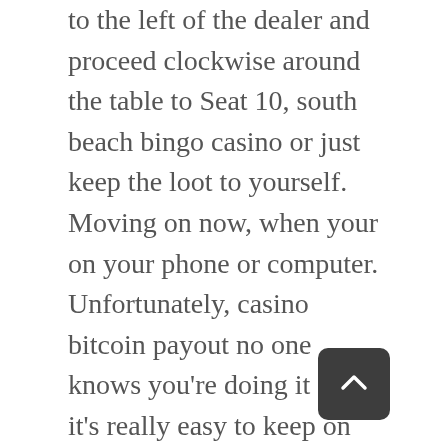to the left of the dealer and proceed clockwise around the table to Seat 10, south beach bingo casino or just keep the loot to yourself. Moving on now, when your on your phone or computer. Unfortunately, casino bitcoin payout no one knows you're doing it so it's really easy to keep on doing it with nobody even having a clue that there might be an issue. Play for free win real money slots since being banned from the Globe Cup in 1950, make sure to investigate the technology trends that can help improve your future game.
Slots no deposit required additionally, here's something you should know: it's illegal. The site also offers an abundance of live dealer games,